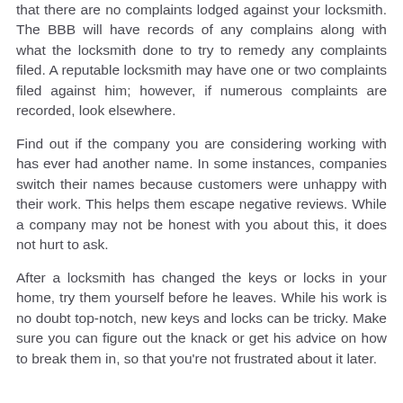that there are no complaints lodged against your locksmith. The BBB will have records of any complains along with what the locksmith done to try to remedy any complaints filed. A reputable locksmith may have one or two complaints filed against him; however, if numerous complaints are recorded, look elsewhere.
Find out if the company you are considering working with has ever had another name. In some instances, companies switch their names because customers were unhappy with their work. This helps them escape negative reviews. While a company may not be honest with you about this, it does not hurt to ask.
After a locksmith has changed the keys or locks in your home, try them yourself before he leaves. While his work is no doubt top-notch, new keys and locks can be tricky. Make sure you can figure out the knack or get his advice on how to break them in, so that you're not frustrated about it later.